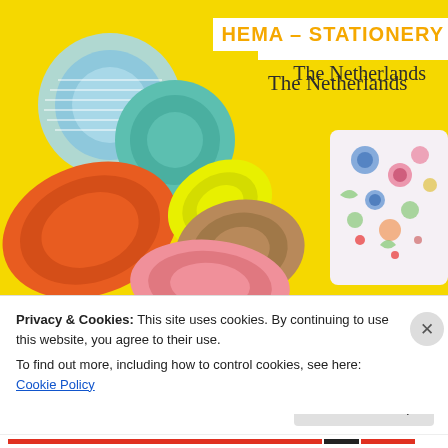[Figure (photo): Photo of colorful rolls of washi/decorative tape on a bright yellow background, including blue striped, teal, orange, neon yellow, pink, floral-patterned rolls. Title overlay reads HEMA – STATIONERY in orange on white background. Subtitle reads 'The Netherlands' in dark serif font.]
HEMA – STATIONERY
The Netherlands
Privacy & Cookies: This site uses cookies. By continuing to use this website, you agree to their use.
To find out more, including how to control cookies, see here: Cookie Policy
Close and accept